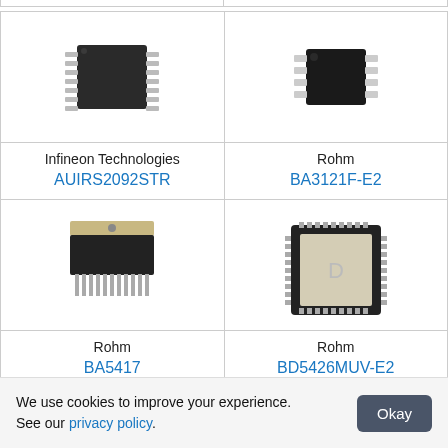[Figure (photo): SOIC-14 IC chip - Infineon Technologies AUIRS2092STR]
Infineon Technologies
AUIRS2092STR
[Figure (photo): SOP-8 IC chip - Rohm BA3121F-E2]
Rohm
BA3121F-E2
[Figure (photo): ZIP power IC chip - Rohm BA5417]
Rohm
BA5417
[Figure (photo): QFN square IC chip - Rohm BD5426MUV-E2]
Rohm
BD5426MUV-E2
We use cookies to improve your experience. See our privacy policy.